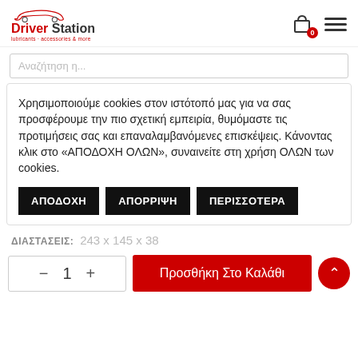[Figure (logo): Driver Station logo with car outline above text, red and black branding, subtitle 'lubricants · accessories & more']
Αναζήτηση η...
Χρησιμοποιούμε cookies στον ιστότοπό μας για να σας προσφέρουμε την πιο σχετική εμπειρία, θυμόμαστε τις προτιμήσεις σας και επαναλαμβανόμενες επισκέψεις. Κάνοντας κλικ στο «ΑΠΟΔΟΧΗ ΟΛΩΝ», συναινείτε στη χρήση ΟΛΩΝ των cookies.
ΑΠΟΔΟΧΗ
ΑΠΟΡΡΙΨΗ
ΠΕΡΙΣΣΟΤΕΡΑ
ΔΙΑΣΤΑΣΕΙΣ:  243 x 145 x 38
− 1 +
Προσθήκη Στο Καλάθι